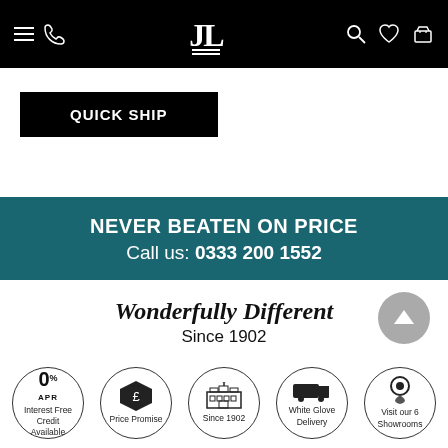Navigation bar with logo JL, hamburger menu, phone, search, wishlist, basket icons
QUICK SHIP
NEVER BEATEN ON PRICE
Call us: 0333 200 1552
Wonderfully Different
Since 1902
[Figure (infographic): Five circular badge icons: 0% APR Interest Free Credit Available, Price Promise (shield with £), Since 1902 (building), White Glove Delivery (truck), Visit our 6 Showrooms (location pin)]